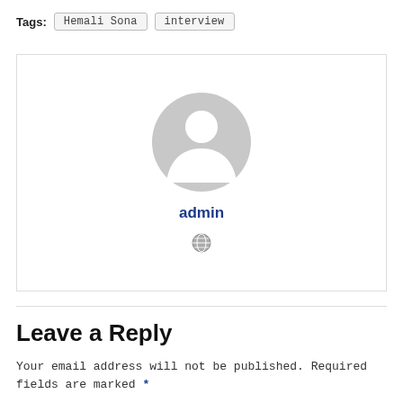Tags: Hemali Sona  interview
[Figure (illustration): Author profile card with a grey default avatar icon, bold blue 'admin' username, and a small globe/website icon below]
Leave a Reply
Your email address will not be published. Required fields are marked *